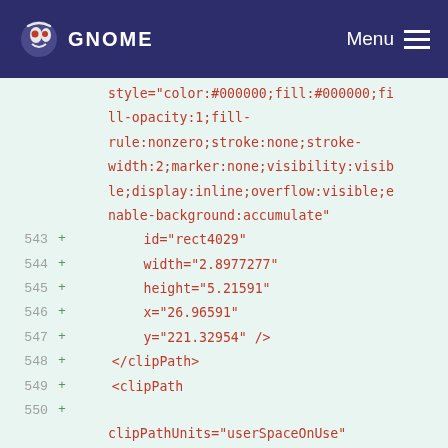GNOME  Menu
style="color:#000000;fill:#000000;fill-opacity:1;fill-rule:nonzero;stroke:none;stroke-width:2;marker:none;visibility:visible;display:inline;overflow:visible;enable-background:accumulate"
543  +         id="rect4029"
544  +         width="2.8977277"
545  +         height="5.21591"
546  +         x="26.96591"
547  +         y="221.32954" />
548  +     </clipPath>
549  +     <clipPath
550  +
clipPathUnits="userSpaceOnUse"
551  +         id="clipPath4031">
552  +         <rect
553  +
style="color:#000000;fill:#000000;fill-opacity:1;fill-